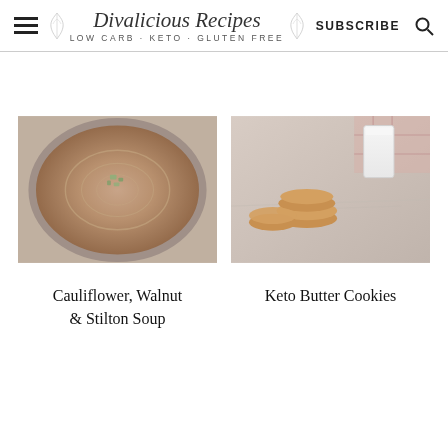Divalicious Recipes - LOW CARB - KETO - GLUTEN FREE | SUBSCRIBE
[Figure (photo): A bowl of creamy brown cauliflower soup with blue cheese crumbles on top, viewed from above]
[Figure (photo): Stacked keto butter cookies on a marble surface with a glass of milk in the background]
Cauliflower, Walnut & Stilton Soup
Keto Butter Cookies